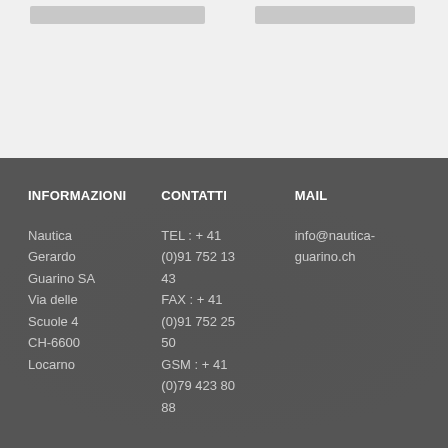INFORMAZIONI
CONTATTI
MAIL
Nautica
Gerardo
Guarino SA
Via delle
Scuole 4
CH-6600
Locarno
TEL : + 41
(0)91 752 13
43
FAX : + 41
(0)91 752 25
50
GSM : + 41
(0)79 423 80
88
info@nautica-guarino.ch